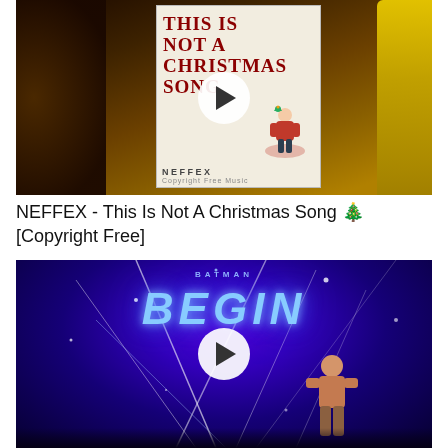[Figure (screenshot): Video thumbnail for NEFFEX - This Is Not A Christmas Song. Shows a physical album/card with red text 'THIS IS NOT A CHRISTMAS SONG' and NEFFEX label, set against a warm dark background with a yellow object on the right. White play button circle in center.]
NEFFEX - This Is Not A Christmas Song 🎄 [Copyright Free]
[Figure (screenshot): Video thumbnail showing a blue/purple stage scene with 'BEGIN' in large stylized text illuminated on a dark background with light streaks/sparkles effect. A shirtless muscular figure visible at bottom right. White play button circle in center. Small text 'BATMAN' above BEGIN.]